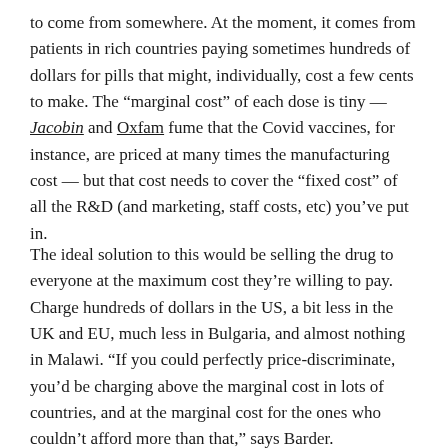to come from somewhere. At the moment, it comes from patients in rich countries paying sometimes hundreds of dollars for pills that might, individually, cost a few cents to make. The “marginal cost” of each dose is tiny — Jacobin and Oxfam fume that the Covid vaccines, for instance, are priced at many times the manufacturing cost — but that cost needs to cover the “fixed cost” of all the R&D (and marketing, staff costs, etc) you’ve put in.
The ideal solution to this would be selling the drug to everyone at the maximum cost they’re willing to pay. Charge hundreds of dollars in the US, a bit less in the UK and EU, much less in Bulgaria, and almost nothing in Malawi. “If you could perfectly price-discriminate, you’d be charging above the marginal cost in lots of countries, and at the marginal cost for the ones who couldn’t afford more than that,” says Barder.